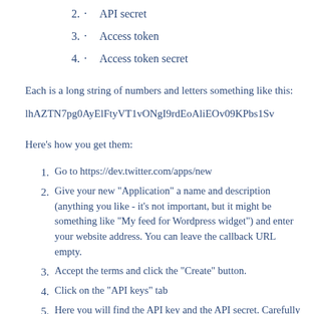2. · API secret
3. · Access token
4. · Access token secret
Each is a long string of numbers and letters something like this:
lhAZTN7pg0AyElFtyVT1vONgI9rdEoAliEOv09KPbs1Sv
Here's how you get them:
1. Go to https://dev.twitter.com/apps/new
2. Give your new "Application" a name and description (anything you like - it's not important, but it might be something like "My feed for Wordpress widget") and enter your website address. You can leave the callback URL empty.
3. Accept the terms and click the "Create" button.
4. Click on the "API keys" tab
5. Here you will find the API key and the API secret. Carefully copy (Ctrl+C) and paste (Ctrl+V) them into a safe place so